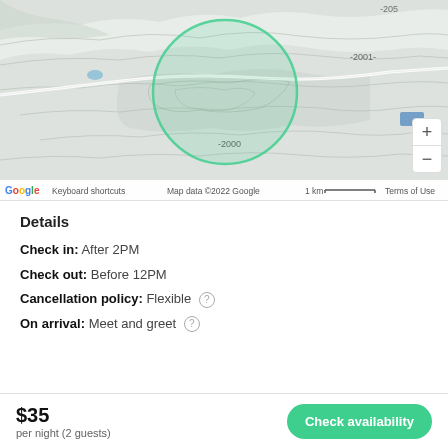[Figure (map): Topographic Google Map showing mountainous terrain with contour lines at ~2000m elevation. A semi-transparent teal/green circle is overlaid on the center of the map indicating a location area. Zoom controls (+/-) appear on the right side. Map footer shows Google logo, 'Keyboard shortcuts', 'Map data ©2022 Google', '1 km' scale bar, and 'Terms of Use'.]
Details
Check in: After 2PM
Check out: Before 12PM
Cancellation policy: Flexible
On arrival: Meet and greet
$35
per night (2 guests)
Check availability